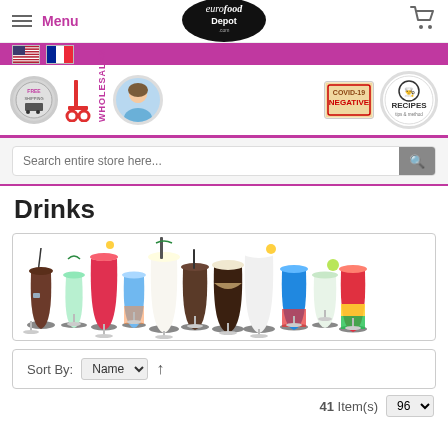Menu | eurofood Depot .com | Cart
[Figure (screenshot): Eurofood Depot website header with menu button, logo, flags, icon strips, and search bar]
Drinks
[Figure (photo): Row of colorful cocktail and drink glasses on white background]
Sort By: Name ↑
41 Item(s)  96